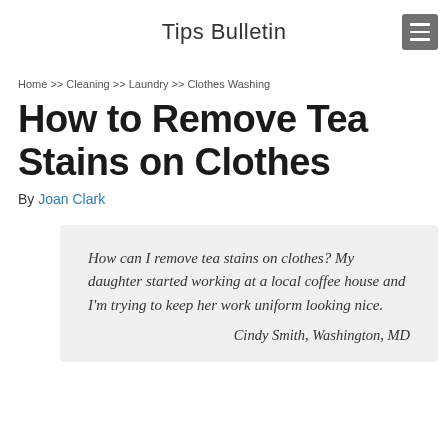Tips Bulletin
Home >> Cleaning >> Laundry >> Clothes Washing
How to Remove Tea Stains on Clothes
By Joan Clark
How can I remove tea stains on clothes? My daughter started working at a local coffee house and I'm trying to keep her work uniform looking nice.

Cindy Smith, Washington, MD